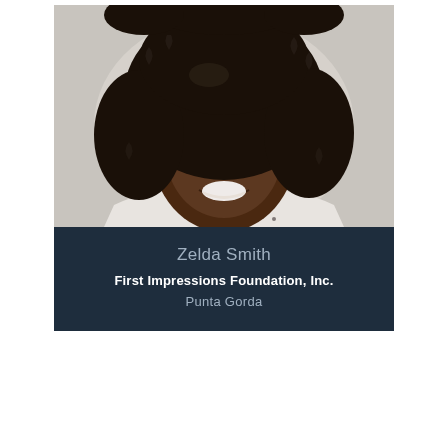[Figure (photo): Portrait photo of Zelda Smith, a woman with curly dark hair, smiling, wearing a patterned top]
Zelda Smith
First Impressions Foundation, Inc.
Punta Gorda